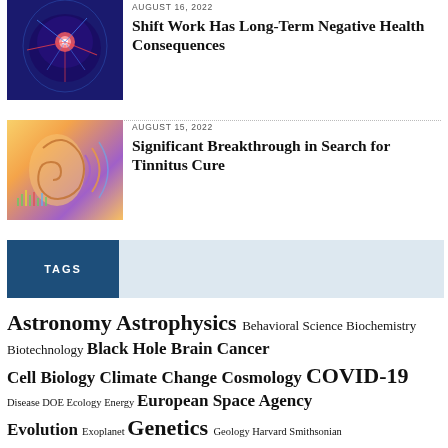[Figure (photo): Medical illustration of human brain with highlighted neural connections in blue and red tones]
AUGUST 16, 2022
Shift Work Has Long-Term Negative Health Consequences
[Figure (photo): Close-up of a human ear with colorful sound wave visualizations]
AUGUST 15, 2022
Significant Breakthrough in Search for Tinnitus Cure
TAGS
Astronomy Astrophysics Behavioral Science Biochemistry Biotechnology Black Hole Brain Cancer Cell Biology Climate Change Cosmology COVID-19 Disease DOE Ecology Energy European Space Agency Evolution Exoplanet Genetics Geology Harvard Smithsonian